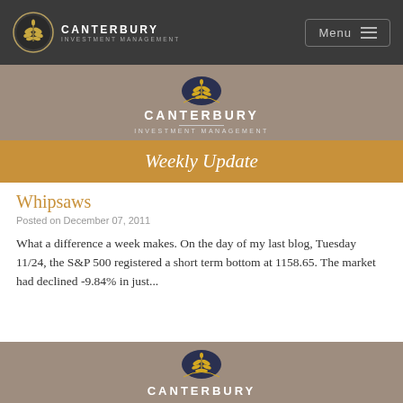CANTERBURY INVESTMENT MANAGEMENT — Menu
[Figure (logo): Canterbury Investment Management logo banner with wheat/leaf emblem on taupe background and gold Weekly Update bar]
Whipsaws
Posted on December 07, 2011
What a difference a week makes. On the day of my last blog, Tuesday 11/24, the S&P 500 registered a short term bottom at 1158.65. The market had declined -9.84% in just...
[Figure (logo): Canterbury Investment Management logo banner (partial, bottom of page) with wheat/leaf emblem on taupe background]